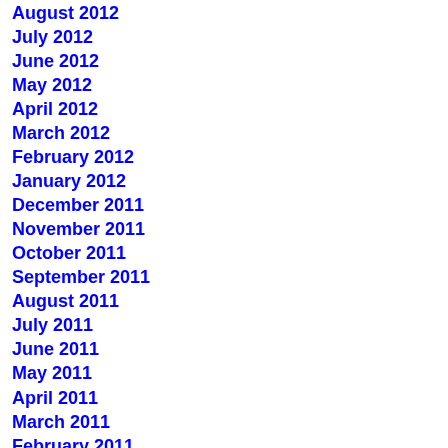August 2012
July 2012
June 2012
May 2012
April 2012
March 2012
February 2012
January 2012
December 2011
November 2011
October 2011
September 2011
August 2011
July 2011
June 2011
May 2011
April 2011
March 2011
February 2011